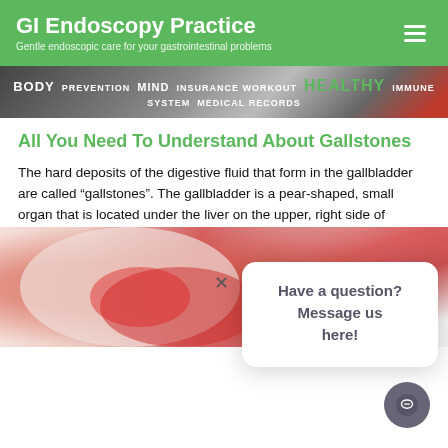GI Endoscopy Practice — Gentle endoscopic care for your gastrointestinal problems
[Figure (photo): Health-related word cloud banner showing terms: BODY, PREVENTION, MIND, INSURANCE WORKOUT, HEALTHY, IMMUNE SYSTEM, MEDICAL RECORDS, with a red background element on the right]
All You Need To Understand About Gallstones
The hard deposits of the digestive fluid that form in the gallbladder are called “gallstones”. The gallbladder is a pear-shaped, small organ that is located under the liver on the upper, right side of the abdomen.
[Figure (photo): Person holding their abdomen with a red highlighted area indicating pain, on a white background]
Have a question? Message us here!